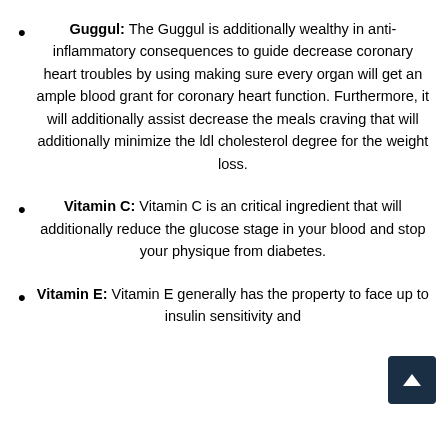Guggul: The Guggul is additionally wealthy in anti-inflammatory consequences to guide decrease coronary heart troubles by using making sure every organ will get an ample blood grant for coronary heart function. Furthermore, it will additionally assist decrease the meals craving that will additionally minimize the ldl cholesterol degree for the weight loss.
Vitamin C: Vitamin C is an critical ingredient that will additionally reduce the glucose stage in your blood and stop your physique from diabetes.
Vitamin E: Vitamin E generally has the property to face up to insulin sensitivity and